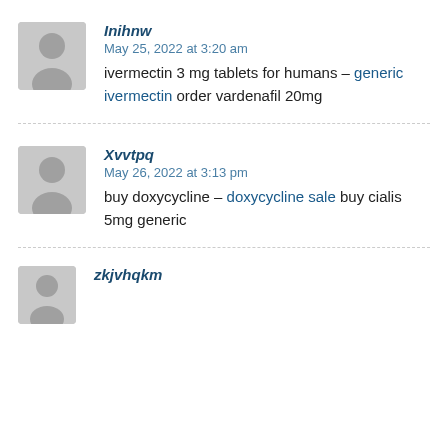Inihnw
May 25, 2022 at 3:20 am
ivermectin 3 mg tablets for humans – generic ivermectin order vardenafil 20mg
Xvvtpq
May 26, 2022 at 3:13 pm
buy doxycycline – doxycycline sale buy cialis 5mg generic
zkjvhqkm